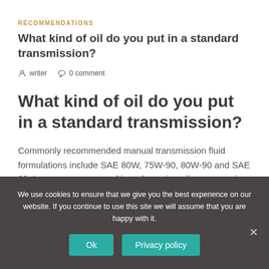RECOMMENDATIONS
What kind of oil do you put in a standard transmission?
writer   0 comment
What kind of oil do you put in a standard transmission?
Commonly recommended manual transmission fluid formulations include SAE 80W, 75W-90, 80W-90 and SAE 90. In some cases, a multi-grade engine oil or automatic
We use cookies to ensure that we give you the best experience on our website. If you continue to use this site we will assume that you are happy with it.